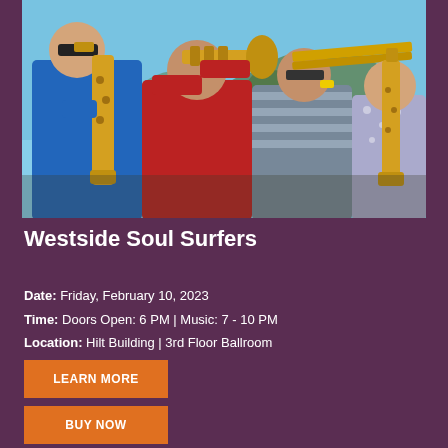[Figure (photo): Four musicians playing brass instruments (saxophone, trumpet, trombone, baritone saxophone) outdoors against a blue sky]
Westside Soul Surfers
Date: Friday, February 10, 2023
Time: Doors Open: 6 PM | Music: 7 - 10 PM
Location: Hilt Building | 3rd Floor Ballroom
LEARN MORE
BUY NOW